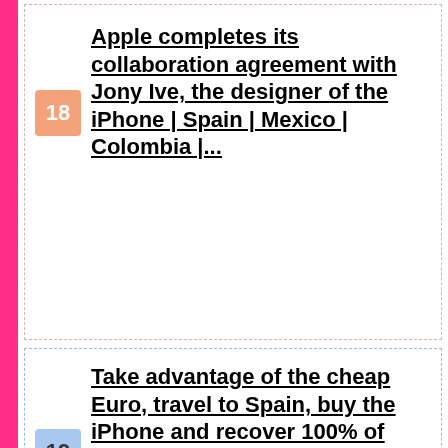18 Apple completes its collaboration agreement with Jony Ive, the designer of the iPhone | Spain | Mexico | Colombia |...
19 Take advantage of the cheap Euro, travel to Spain, buy the iPhone and recover 100% of taxes
20 iPhone 14 will cost more than expected
Smartphone: How to transfer